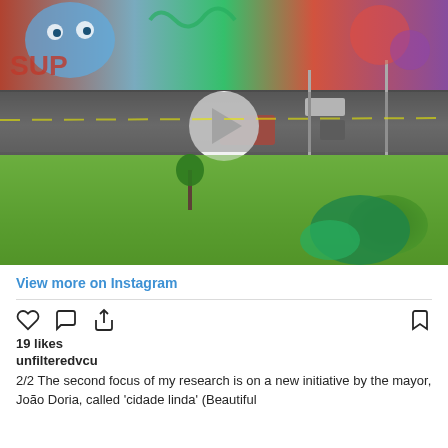[Figure (photo): Aerial or elevated view of a Brazilian urban scene showing a wall covered in colorful graffiti at the top, a road with a red van and a motorcyclist, green grass and trees/bushes at the bottom. A white play button overlay is visible, indicating this is a video post on Instagram.]
View more on Instagram
19 likes
unfilteredvcu
2/2 The second focus of my research is on a new initiative by the mayor, João Doria, called 'cidade linda' (Beautiful city)...